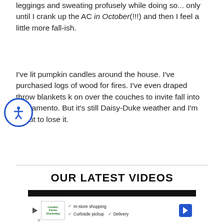leggings and sweating profusely while doing so... only until I crank up the AC in October(!!!) and then I feel a little more fall-ish.
I've lit pumpkin candles around the house. I've purchased logs of wood for fires. I've even draped throw blankets k on over the couches to invite fall into Sacramento. But it's still Daisy-Duke weather and I'm about to lose it.
OUR LATEST VIDEOS
[Figure (screenshot): Embedded video player with advertisement showing a store with in-store shopping, curbside pickup, and delivery options]